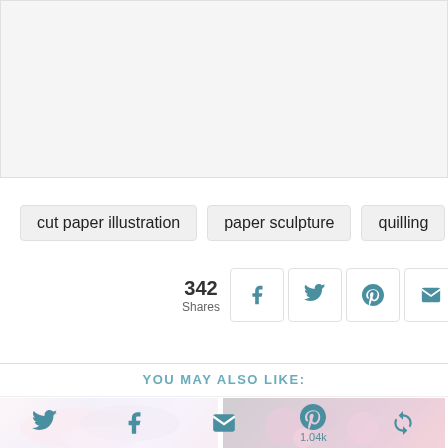[Figure (other): Blank/white image placeholder area at top of page]
cut paper illustration
paper sculpture
quilling
342 Shares
YOU MAY ALSO LIKE:
[Figure (photo): Two thumbnail images of paper art - left shows colorful swirling paper art in pink/purple tones, right shows dark red/purple paper quilling art]
1.04k